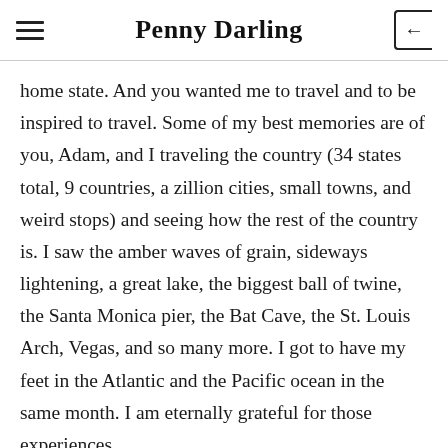Penny Darling
home state. And you wanted me to travel and to be inspired to travel. Some of my best memories are of you, Adam, and I traveling the country (34 states total, 9 countries, a zillion cities, small towns, and weird stops) and seeing how the rest of the country is. I saw the amber waves of grain, sideways lightening, a great lake, the biggest ball of twine, the Santa Monica pier, the Bat Cave, the St. Louis Arch, Vegas, and so many more. I got to have my feet in the Atlantic and the Pacific ocean in the same month. I am eternally grateful for those experiences.
-You have supported me in so many ways since I